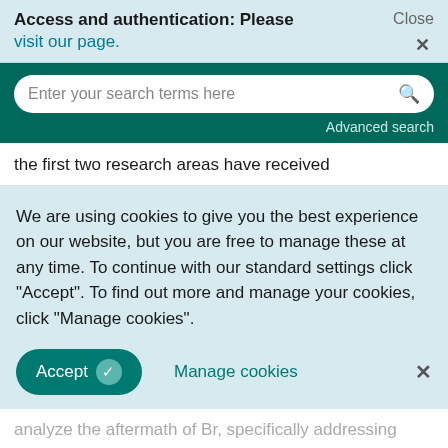Access and authentication: Please visit our page.
Close ×
[Figure (screenshot): Search bar with placeholder text 'Enter your search terms here' and a search icon, on a dark teal background, with 'Advanced search' link below]
the first two research areas have received
We are using cookies to give you the best experience on our website, but you are free to manage these at any time. To continue with our standard settings click "Accept". To find out more and manage your cookies, click "Manage cookies".
Accept ✓   Manage cookies   ×
analyze the aftermath of Br, specifically addressing how the individual progresses and eventually